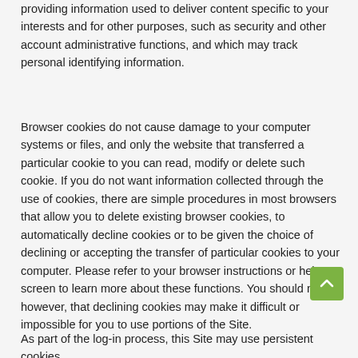providing information used to deliver content specific to your interests and for other purposes, such as security and other account administrative functions, and which may track personal identifying information.
Browser cookies do not cause damage to your computer systems or files, and only the website that transferred a particular cookie to you can read, modify or delete such cookie. If you do not want information collected through the use of cookies, there are simple procedures in most browsers that allow you to delete existing browser cookies, to automatically decline cookies or to be given the choice of declining or accepting the transfer of particular cookies to your computer. Please refer to your browser instructions or help screen to learn more about these functions. You should note, however, that declining cookies may make it difficult or impossible for you to use portions of the Site.
As part of the log-in process, this Site may use persistent cookies